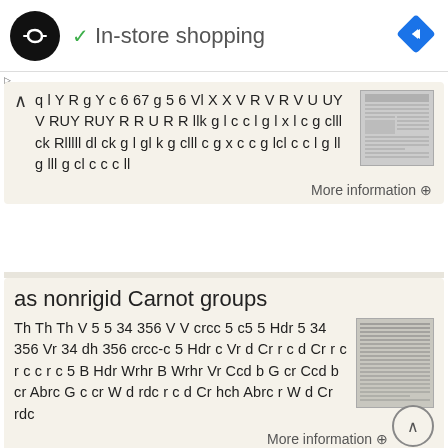[Figure (logo): Black circular logo with infinity/loop symbol in white, followed by green checkmark and 'In-store shopping' text, and a blue diamond navigation icon on the right]
q l Y R g Y c 6 67 g 5 6 Vl X X V R V R V U UY V RUY RUY R R U R R llk g l c c l g l x l c g clll ck Rlllll dl ck g l gl k g clll c g x c c g lcl c c l g ll g lll g cl c c c ll
[Figure (photo): Small thumbnail image of newspaper/document]
More information →
as nonrigid Carnot groups
Th Th Th V 5 5 34 356 V V crcc 5 c5 5 Hdr 5 34 356 Vr 34 dh 356 crcc-c 5 Hdr c Vr d Cr r c d Cr r c r c c r c 5 B Hdr Wrhr B Wrhr Vr Ccd b G cr Ccd b cr Abrc G c cr W d rdc r c d Cr hch Abrc r W d Cr rdc
[Figure (photo): Small thumbnail image of text/document]
More information →